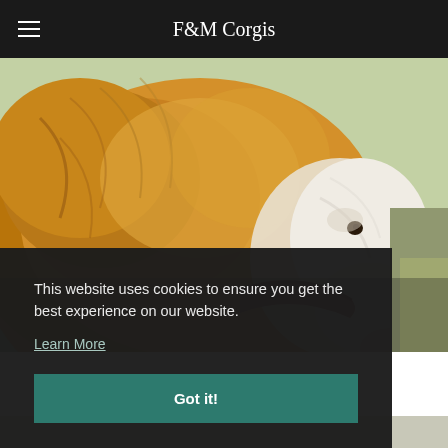F&M Corgis
[Figure (photo): Close-up photo of a fluffy Corgi dog with golden/brown fur and a red collar, photographed outdoors]
This website uses cookies to ensure you get the best experience on our website.
Learn More
Got it!